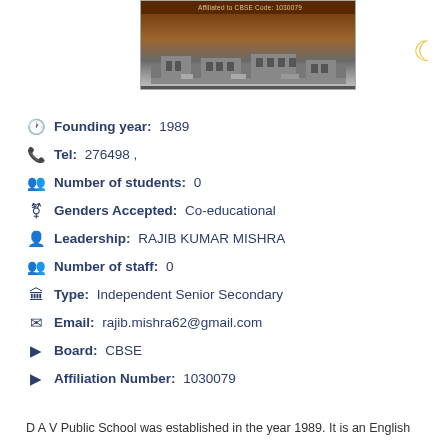[Figure (photo): School banner image showing building exterior with brown/golden color scheme, affiliated to CBSE code displayed at top]
Founding year: 1989
Tel: 276498 ,
Number of students: 0
Genders Accepted: Co-educational
Leadership: RAJIB KUMAR MISHRA
Number of staff: 0
Type: Independent Senior Secondary
Email: rajib.mishra62@gmail.com
Board: CBSE
Affiliation Number: 1030079
D A V Public School was established in the year 1989. It is an English